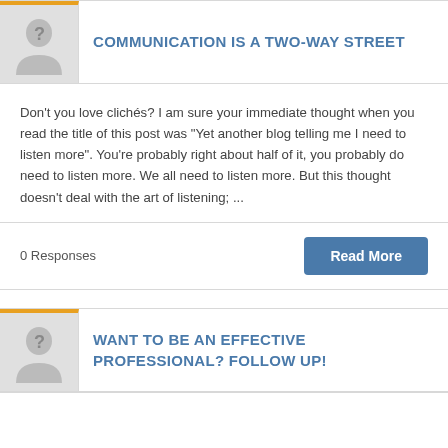COMMUNICATION IS A TWO-WAY STREET
Don’t you love clichés? I am sure your immediate thought when you read the title of this post was “Yet another blog telling me I need to listen more”. You’re probably right about half of it, you probably do need to listen more. We all need to listen more. But this thought doesn’t deal with the art of listening; ...
0 Responses
WANT TO BE AN EFFECTIVE PROFESSIONAL? FOLLOW UP!